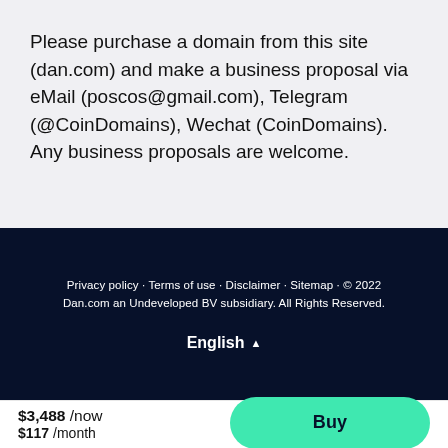Please purchase a domain from this site (dan.com) and make a business proposal via eMail (poscos@gmail.com), Telegram (@CoinDomains), Wechat (CoinDomains). Any business proposals are welcome.
Privacy policy · Terms of use · Disclaimer · Sitemap · © 2022 Dan.com an Undeveloped BV subsidiary. All Rights Reserved.
English ▲
$3,488 /now $117 /month
Buy